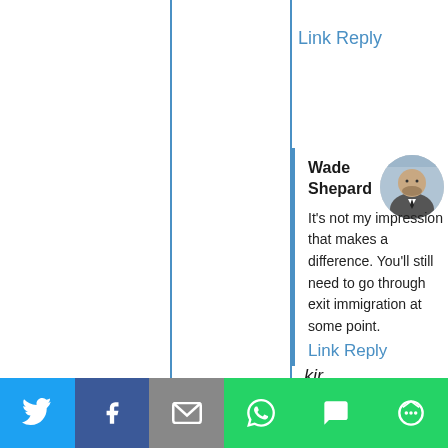Link Reply
Wade Shepard
It's not my impression that makes a difference. You'll still need to go through exit immigration at some point.
Link Reply
kir
[Figure (other): Share bar with Twitter, Facebook, Email, WhatsApp, SMS, and More buttons]